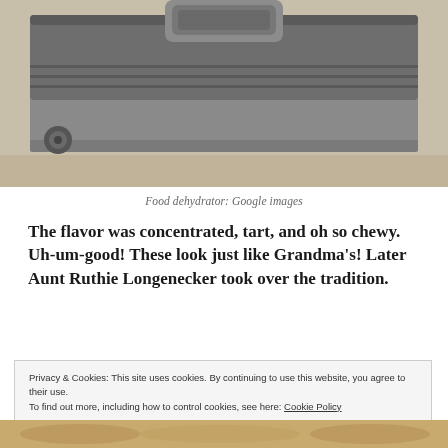[Figure (photo): Close-up photo of a food dehydrator appliance, showing the metallic tray handle and base on a countertop.]
Food dehydrator: Google images
The flavor was concentrated, tart, and oh so chewy. Uh-um-good! These look just like Grandma's! Later Aunt Ruthie Longenecker took over the tradition.
Privacy & Cookies: This site uses cookies. By continuing to use this website, you agree to their use.
To find out more, including how to control cookies, see here: Cookie Policy
Close and accept
[Figure (photo): Partial view of food items at bottom of page.]